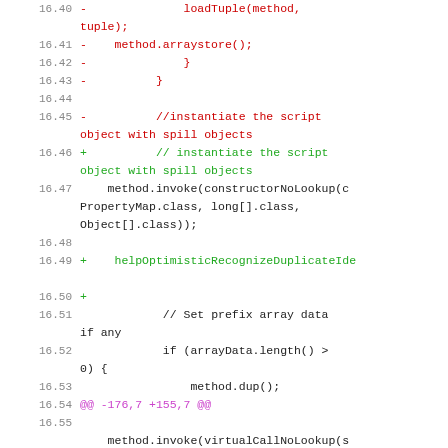Code diff showing changes to Java method bytecode generation, lines 16.40-16.55
16.40   -              loadTuple(method, tuple);
16.41   -    method.arraystore();
16.42   -              }
16.43   -          }
16.44
16.45   -          //instantiate the script object with spill objects
16.46   +          // instantiate the script object with spill objects
16.47       method.invoke(constructorNoLookup(c PropertyMap.class, long[].class, Object[].class));
16.48
16.49   +    helpOptimisticRecognizeDuplicateIde
16.50   +
16.51               // Set prefix array data if any
16.52               if (arrayData.length() > 0) {
16.53                   method.dup();
16.54   @@ -176,7 +155,7 @@
16.55
16.55       method.invoke(virtualCallNoLookup(s "setArray", void.class, ArrayData.class));